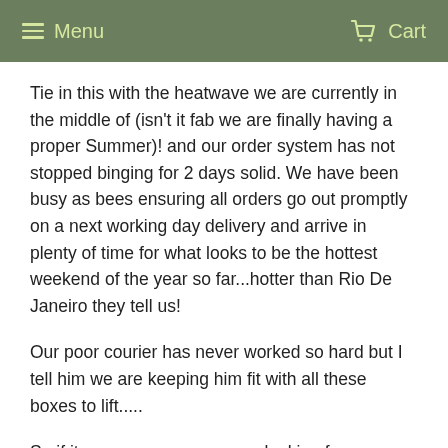Menu   Cart
Tie in this with the heatwave we are currently in the middle of (isn't it fab we are finally having a proper Summer)! and our order system has not stopped binging for 2 days solid. We have been busy as bees ensuring all orders go out promptly on a next working day delivery and arrive in plenty of time for what looks to be the hottest weekend of the year so far...hotter than Rio De Janeiro they tell us!
Our poor courier has never worked so hard but I tell him we are keeping him fit with all these boxes to lift.....
So if its a sun canopy you are looking for, you are in the right place.
Please get in touch should you have any questions, we